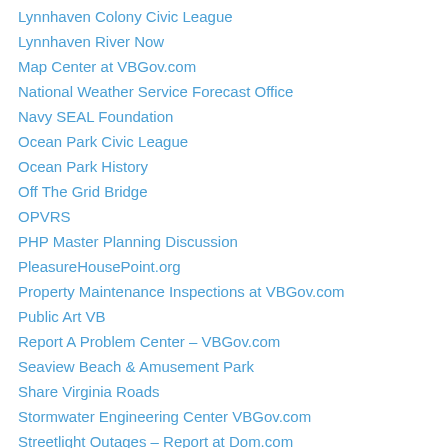Lynnhaven Colony Civic League
Lynnhaven River Now
Map Center at VBGov.com
National Weather Service Forecast Office
Navy SEAL Foundation
Ocean Park Civic League
Ocean Park History
Off The Grid Bridge
OPVRS
PHP Master Planning Discussion
PleasureHousePoint.org
Property Maintenance Inspections at VBGov.com
Public Art VB
Report A Problem Center – VBGov.com
Seaview Beach & Amusement Park
Share Virginia Roads
Stormwater Engineering Center VBGov.com
Streetlight Outages – Report at Dom.com
The Tidewater Current
Three Ships Landing